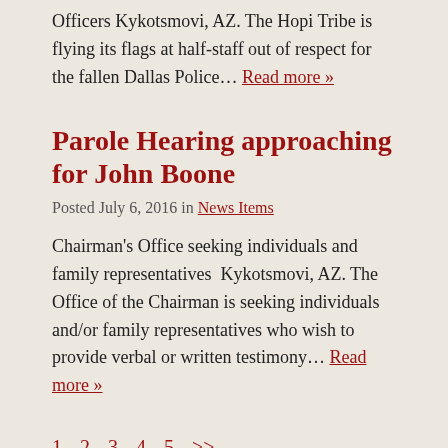Officers Kykotsmovi, AZ. The Hopi Tribe is flying its flags at half-staff out of respect for the fallen Dallas Police... Read more »
Parole Hearing approaching for John Boone
Posted July 6, 2016 in News Items
Chairman's Office seeking individuals and family representatives  Kykotsmovi, AZ. The Office of the Chairman is seeking individuals and/or family representatives who wish to provide verbal or written testimony... Read more »
1  2  3  4  5  >>